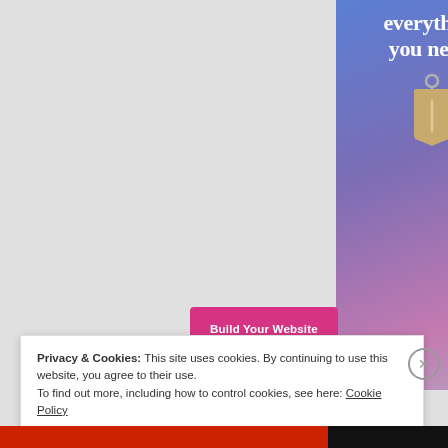[Figure (illustration): Advertisement banner with blue-to-purple gradient background. White bold text reads 'everything you need.' with a hanging price tag icon below. A pink 'Build Your Website' button at the bottom.]
Privacy & Cookies: This site uses cookies. By continuing to use this website, you agree to their use.
To find out more, including how to control cookies, see here: Cookie Policy
Close and accept